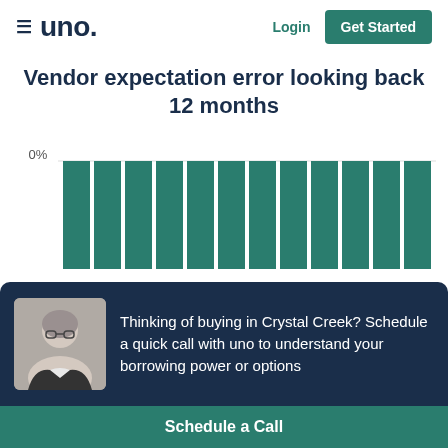≡ uno. | Login | Get Started
Vendor expectation error looking back 12 months
[Figure (bar-chart): Vendor expectation error looking back 12 months]
Thinking of buying in Crystal Creek? Schedule a quick call with uno to understand your borrowing power or options
Schedule a Call